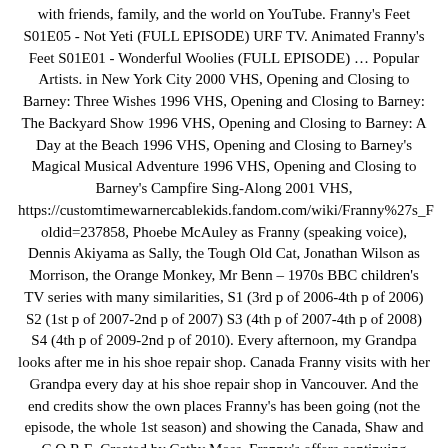with friends, family, and the world on YouTube. Franny's Feet S01E05 - Not Yeti (FULL EPISODE) URF TV. Animated Franny's Feet S01E01 - Wonderful Woolies (FULL EPISODE) … Popular Artists. in New York City 2000 VHS, Opening and Closing to Barney: Three Wishes 1996 VHS, Opening and Closing to Barney: The Backyard Show 1996 VHS, Opening and Closing to Barney: A Day at the Beach 1996 VHS, Opening and Closing to Barney's Magical Musical Adventure 1996 VHS, Opening and Closing to Barney's Campfire Sing-Along 2001 VHS, https://customtimewarnercablekids.fandom.com/wiki/Franny%27s_F oldid=237858, Phoebe McAuley as Franny (speaking voice), Dennis Akiyama as Sally, the Tough Old Cat, Jonathan Wilson as Morrison, the Orange Monkey, Mr Benn – 1970s BBC children's TV series with many similarities, S1 (3rd p of 2006-4th p of 2006) S2 (1st p of 2007-2nd p of 2007) S3 (4th p of 2007-4th p of 2008) S4 (4th p of 2009-2nd p of 2010). Every afternoon, my Grandpa looks after me in his shoe repair shop. Canada Franny visits with her Grandpa every day at his shoe repair shop in Vancouver. And the end credits show the own places Franny's has been going (not the episode, the whole 1st season) and showing the Canada, Shaw and C.O.R.E. Created by Cathy Moss. Franny's offers continuing education/training that includes: buyers' guides, product descriptions, consumer data, video tutorials, technology insights, and more. Find out when and where you can watch Franny's Feet episodes with TVGuide's full tv listings - you'll never miss another moment from your favorite show! Franny's Feet Season 2 End...